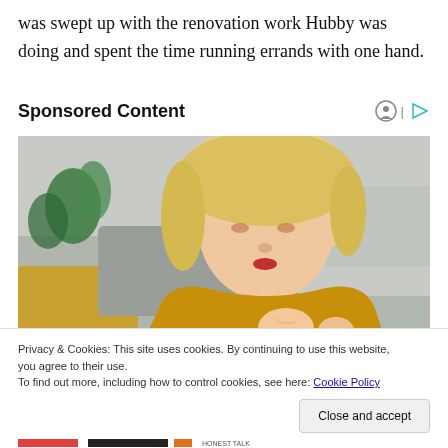was swept up with the renovation work Hubby was doing and spent the time running errands with one hand.
Sponsored Content
[Figure (photo): A blonde woman in a yellow knit sweater looking down at her elbow/arm, examining it, sitting on a couch with a plant in the background.]
Privacy & Cookies: This site uses cookies. By continuing to use this website, you agree to their use.
To find out more, including how to control cookies, see here: Cookie Policy
Close and accept